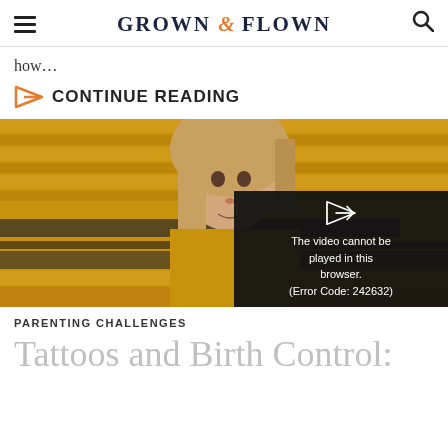GROWN & FLOWN
how...
CONTINUE READING
[Figure (photo): Young woman with long blonde hair standing in front of yellow corrugated metal/school bus background, with a video player overlay showing error message 'The video cannot be played in this browser. (Error Code: 242632)']
PARENTING CHALLENGES
Tattoos and Birth Control: